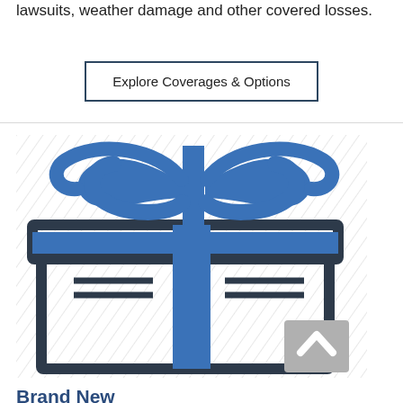lawsuits, weather damage and other covered losses.
Explore Coverages & Options
[Figure (illustration): Icon of a wrapped gift box with a decorative ribbon/bow on top, rendered in dark navy and blue colors on a light diagonal-striped background. A small gray scroll-to-top arrow button is visible at the bottom right corner.]
Brand New Belongings